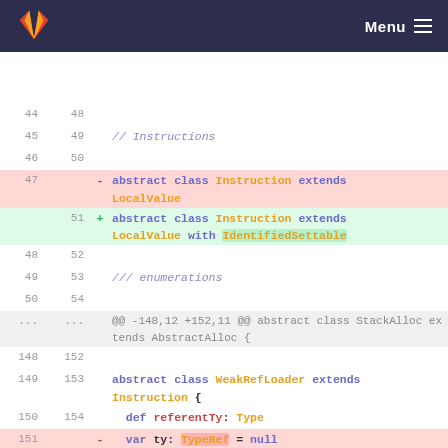Menu
[Figure (screenshot): GitLab-style code diff view showing Scala source code. Lines 44-50 are context, line 47 is deleted (abstract class Instruction extends LocalValue), line 51 is added (abstract class Instruction extends LocalValue with IdentifiedSettable), lines 48-54 are context. A hunk header shows @@ -148,12 +152,11 @@ abstract class StackAlloc extends AbstractAlloc {. Lines 148-150/152-154 are context, line 151 is deleted (var ty: TypeRef = null), line 155 is added (var ty: Type = null), lines 152-157 are context.]